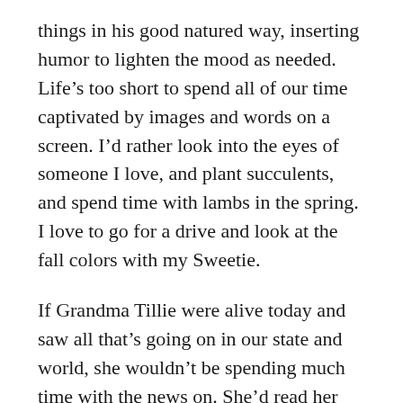things in his good natured way, inserting humor to lighten the mood as needed. Life’s too short to spend all of our time captivated by images and words on a screen. I’d rather look into the eyes of someone I love, and plant succulents, and spend time with lambs in the spring. I love to go for a drive and look at the fall colors with my Sweetie.
If Grandma Tillie were alive today and saw all that’s going on in our state and world, she wouldn’t be spending much time with the news on. She’d read her Bible. She liked to grow African violets. She’d visit over a cup of tea with her large extended family and neighbors. She liked to ask us to weigh on her old scales when we came in the sliding glass door. She probably missed her calling as a nurse. Grandma never learned to drive a car. She had Mr. Kuenzi drive her around in their huge old light